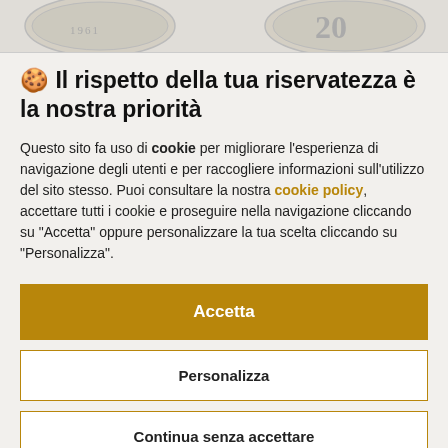[Figure (photo): Partial view of two coins at the top of the page, showing coin edges and the number 20]
🍪 Il rispetto della tua riservatezza è la nostra priorità
Questo sito fa uso di cookie per migliorare l'esperienza di navigazione degli utenti e per raccogliere informazioni sull'utilizzo del sito stesso. Puoi consultare la nostra cookie policy, accettare tutti i cookie e proseguire nella navigazione cliccando su "Accetta" oppure personalizzare la tua scelta cliccando su "Personalizza".
Accetta
Personalizza
Continua senza accettare